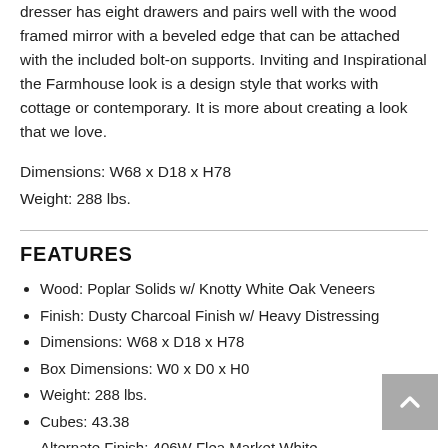dresser has eight drawers and pairs well with the wood framed mirror with a beveled edge that can be attached with the included bolt-on supports. Inviting and Inspirational the Farmhouse look is a design style that works with cottage or contemporary. It is more about creating a look that we love.
Dimensions: W68 x D18 x H78
Weight: 288 lbs.
FEATURES
Wood: Poplar Solids w/ Knotty White Oak Veneers
Finish: Dusty Charcoal Finish w/ Heavy Distressing
Dimensions: W68 x D18 x H78
Box Dimensions: W0 x D0 x H0
Weight: 288 lbs.
Cubes: 43.38
Alternate Finish: 406W Flea Market White